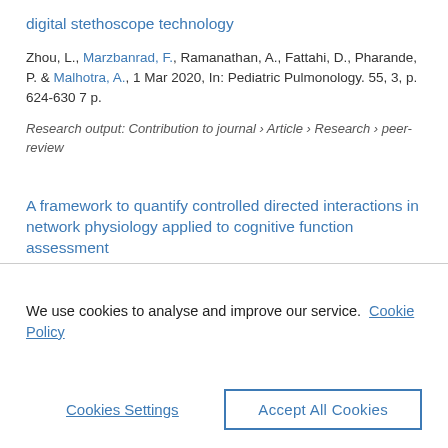digital stethoscope technology
Zhou, L., Marzbanrad, F., Ramanathan, A., Fattahi, D., Pharande, P. & Malhotra, A., 1 Mar 2020, In: Pediatric Pulmonology. 55, 3, p. 624-630 7 p.
Research output: Contribution to journal › Article › Research › peer-review
A framework to quantify controlled directed interactions in network physiology applied to cognitive function assessment
Marzbanrad, F., Yaghmaie, N. & Jelinek, H. F., 1 Dec 2020, In:
We use cookies to analyse and improve our service. Cookie Policy